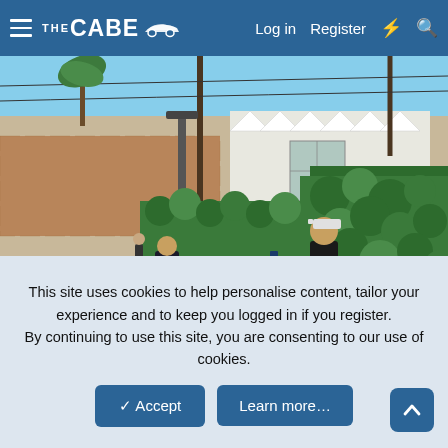THE CABE — Log in  Register
[Figure (photo): Two men with bicycles on a sunny street sidewalk, surrounded by vintage-style bikes near a green hedge and an urban storefront. Other cyclists visible in the background.]
This site uses cookies to help personalise content, tailor your experience and to keep you logged in if you register. By continuing to use this site, you are consenting to our use of cookies.
✓ Accept   Learn more…